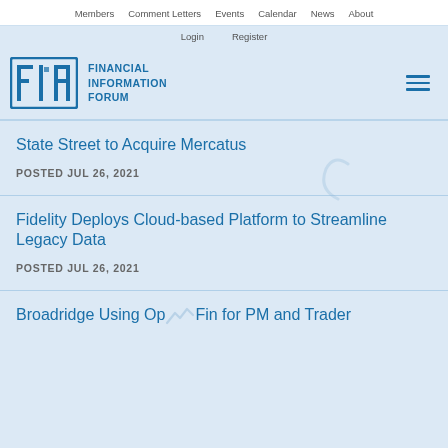Members  Comment Letters  Events  Calendar  News  About
Login  Register
[Figure (logo): Financial Information Forum logo with FIF icon and text FINANCIAL INFORMATION FORUM]
State Street to Acquire Mercatus
POSTED JUL 26, 2021
Fidelity Deploys Cloud-based Platform to Streamline Legacy Data
POSTED JUL 26, 2021
Broadridge Using OpenFin for PM and Trader ...